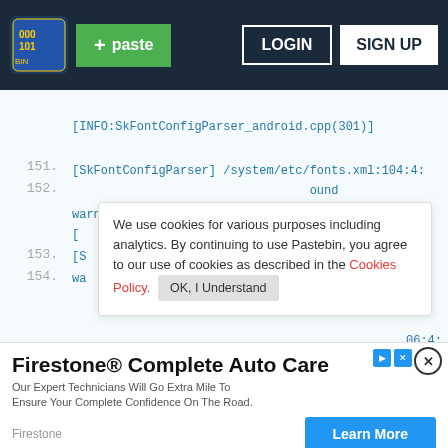Pastebin header with logo, + paste button, LOGIN and SIGN UP buttons
[INFO:SkFontConfigParser_android.cpp(301)]
[SkFontConfigParser] /system/etc/fonts.xml:104:4:
warning: 'DINPro' alias target not found
151.                                  ound
152.                             I
[  [S  wa
We use cookies for various purposes including analytics. By continuing to use Pastebin, you agree to our use of cookies as described in the Cookies Policy. OK, I Understand
153.
154.
lo
[Figure (illustration): HELLO speech bubble logo for Pastebin sign-up prompt]
Not a member of Pastebin yet?
Sign Up, it unlocks many cool features!
[Figure (infographic): Firestone Complete Auto Care advertisement banner. Text: 'Our Expert Technicians Will Go Extra Mile To Ensure Your Complete Confidence On The Road.' Brand: Firestone. Button: Learn More]
155.
156.
157.